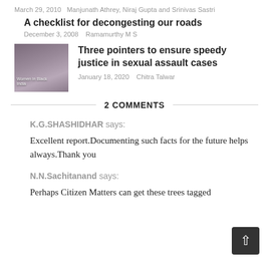March 29, 2010   Manjunath Athrey, Niraj Gupta and Srinivas Sastri
A checklist for decongesting our roads
December 3, 2008   Ramamurthy M S
[Figure (photo): Group of people holding banners, Women in Black India protest]
Three pointers to ensure speedy justice in sexual assault cases
January 18, 2020   Chitra Talwar
2 COMMENTS
K.G.SHASHIDHAR says:
Excellent report.Documenting such facts for the future helps always.Thank you
N.N.Sachitanand says:
Perhaps Citizen Matters can get these trees tagged